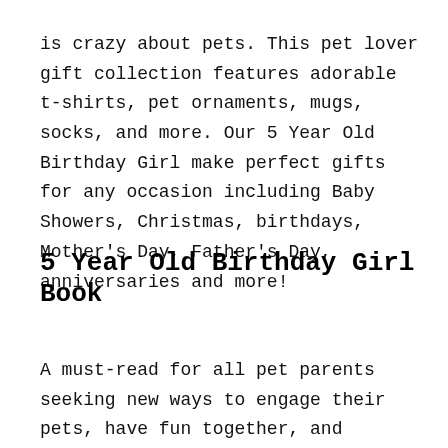is crazy about pets. This pet lover gift collection features adorable t-shirts, pet ornaments, mugs, socks, and more. Our 5 Year Old Birthday Girl make perfect gifts for any occasion including Baby Showers, Christmas, birthdays, Mother's Day, Father's Day, anniversaries and more!
5 Year Old Birthday Girl Book
A must-read for all pet parents seeking new ways to engage their pets, have fun together, and strengthen the bond between them! This is a great